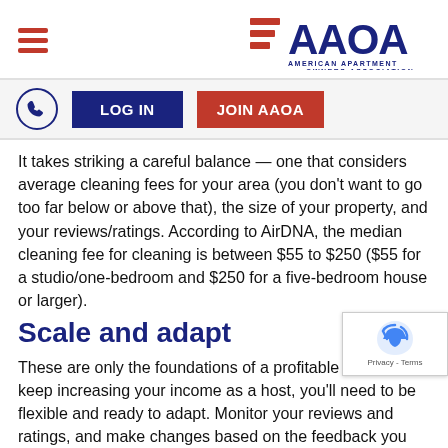AAOA - American Apartment Owners Association
[Figure (logo): AAOA - American Apartment Owners Association logo with red stripe and blue text]
It takes striking a careful balance — one that considers average cleaning fees for your area (you don't want to go too far below or above that), the size of your property, and your reviews/ratings. According to AirDNA, the median cleaning fee for cleaning is between $55 to $250 ($55 for a studio/one-bedroom and $250 for a five-bedroom house or larger).
Scale and adapt
These are only the foundations of a profitable Airbnb. To keep increasing your income as a host, you'll need to be flexible and ready to adapt. Monitor your reviews and ratings, and make changes based on the feedback you receive. You should also keep a close watch